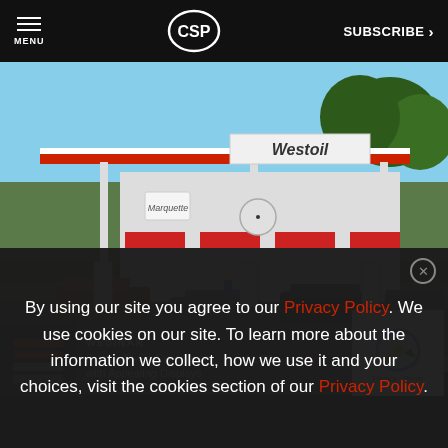MENU | CSP | SUBSCRIBE >
[Figure (photo): Exterior photo of a Westoil convenience store and gas station with vehicles at fuel pumps, red awnings, and green trees in background.]
[Figure (screenshot): Advertisement banner: WEBINAR - Build a To-Go Experience with Appealing Displays - ALTO-SHAAM]
[Figure (other): reCAPTCHA widget showing recycling arrow logo with Privacy - Terms text]
By using our site you agree to our Privacy Policy. We use cookies on our site. To learn more about the information we collect, how we use it and your choices, visit the cookies section of our Privacy Policy.